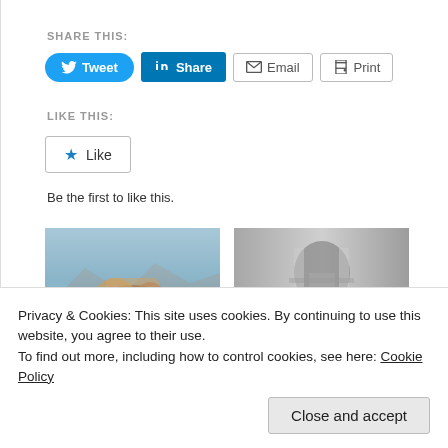SHARE THIS:
[Figure (screenshot): Social sharing buttons: Tweet (blue rounded), Share on LinkedIn (blue square), Email (outlined), Print (outlined)]
LIKE THIS:
[Figure (screenshot): Like button with star icon]
Be the first to like this.
[Figure (photo): Two people embracing viewed from behind with mountains in background (color photo)]
[Figure (photo): Child looking through a window (black and white photo)]
Privacy & Cookies: This site uses cookies. By continuing to use this website, you agree to their use.
To find out more, including how to control cookies, see here: Cookie Policy
Close and accept